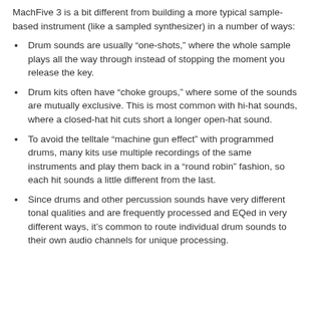MachFive 3 is a bit different from building a more typical sample-based instrument (like a sampled synthesizer) in a number of ways:
Drum sounds are usually "one-shots," where the whole sample plays all the way through instead of stopping the moment you release the key.
Drum kits often have "choke groups," where some of the sounds are mutually exclusive. This is most common with hi-hat sounds, where a closed-hat hit cuts short a longer open-hat sound.
To avoid the telltale "machine gun effect" with programmed drums, many kits use multiple recordings of the same instruments and play them back in a "round robin" fashion, so each hit sounds a little different from the last.
Since drums and other percussion sounds have very different tonal qualities and are frequently processed and EQed in very different ways, it's common to route individual drum sounds to their own audio channels for unique processing.